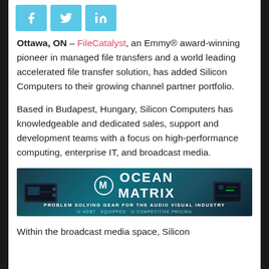[Figure (other): Social media share icons: Facebook, Twitter, LinkedIn — blue square buttons with white icons]
Ottawa, ON – FileCatalyst, an Emmy® award-winning pioneer in managed file transfers and a world leading accelerated file transfer solution, has added Silicon Computers to their growing channel partner portfolio.
Based in Budapest, Hungary, Silicon Computers has knowledgeable and dedicated sales, support and development teams with a focus on high-performance computing, enterprise IT, and broadcast media.
[Figure (photo): Ocean Matrix advertisement banner — teal/dark background with hardware devices on left and right, logo in center reading OCEAN MATRIX with tagline PROBLEM SOLVING GEAR FOR THE AUDIO VISUAL INDUSTRY, HDBT EQUIPPED, COMPETITIVE PRICING]
Within the broadcast media space, Silicon